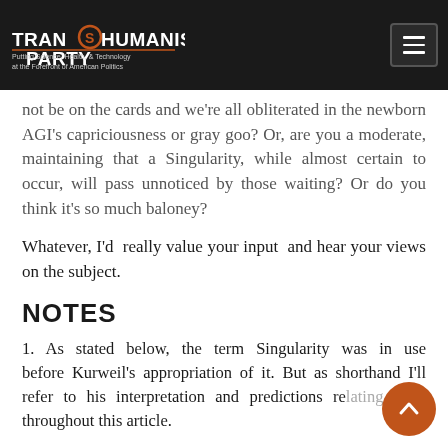TRANSHUMANIST PARTY — Putting Science, Health, & Technology at the Forefront of American Politics
not be on the cards and we're all obliterated in the newborn AGI's capriciousness or gray goo? Or, are you a moderate, maintaining that a Singularity, while almost certain to occur, will pass unnoticed by those waiting? Or do you think it's so much baloney?
Whatever, I'd really value your input and hear your views on the subject.
NOTES
1. As stated below, the term Singularity was in use before Kurweil's appropriation of it. But as shorthand I'll refer to his interpretation and predictions relating to it throughout this article.